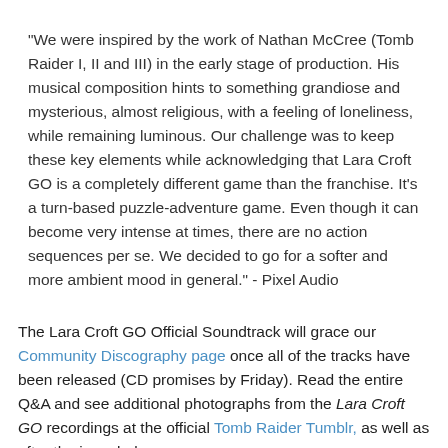"We were inspired by the work of Nathan McCree (Tomb Raider I, II and III) in the early stage of production. His musical composition hints to something grandiose and mysterious, almost religious, with a feeling of loneliness, while remaining luminous. Our challenge was to keep these key elements while acknowledging that Lara Croft GO is a completely different game than the franchise. It's a turn-based puzzle-adventure game. Even though it can become very intense at times, there are no action sequences per se. We decided to go for a softer and more ambient mood in general." - Pixel Audio
The Lara Croft GO Official Soundtrack will grace our Community Discography page once all of the tracks have been released (CD promises by Friday). Read the entire Q&A and see additional photographs from the Lara Croft GO recordings at the official Tomb Raider Tumblr, as well as after the jump below.